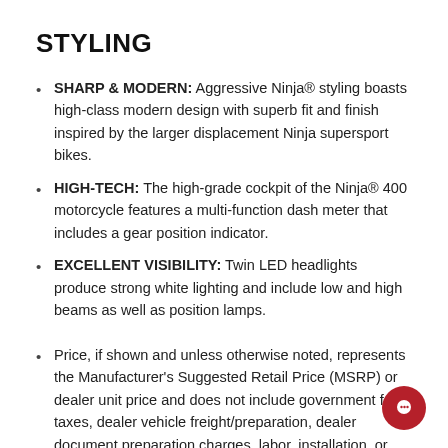STYLING
SHARP & MODERN: Aggressive Ninja® styling boasts high-class modern design with superb fit and finish inspired by the larger displacement Ninja supersport bikes.
HIGH-TECH: The high-grade cockpit of the Ninja® 400 motorcycle features a multi-function dash meter that includes a gear position indicator.
EXCELLENT VISIBILITY: Twin LED headlights produce strong white lighting and include low and high beams as well as position lamps.
Price, if shown and unless otherwise noted, represents the Manufacturer's Suggested Retail Price (MSRP) or dealer unit price and does not include government fees, taxes, dealer vehicle freight/preparation, dealer document preparation charges, labor, installation, or any finance charges (if applicable). MSRP and/or final sales price will